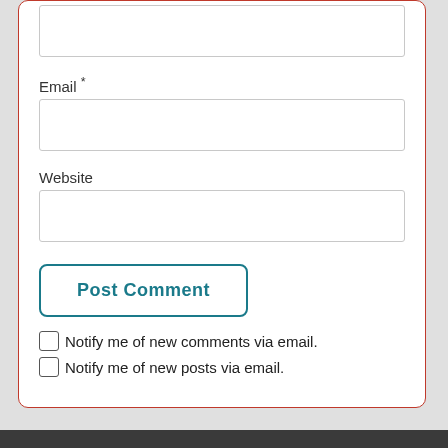[Figure (screenshot): Top portion of a comment form input field (partially visible at top of card)]
Email *
[Figure (screenshot): Email input text field, empty]
Website
[Figure (screenshot): Website input text field, empty]
Post Comment
Notify me of new comments via email.
Notify me of new posts via email.